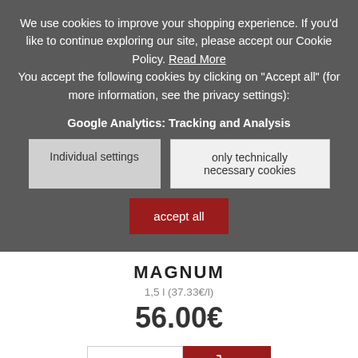We use cookies to improve your shopping experience. If you'd like to continue exploring our site, please accept our Cookie Policy. Read More
You accept the following cookies by clicking on "Accept all" (for more information, see the privacy settings):
Google Analytics: Tracking and Analysis
Individual settings
only technically necessary cookies
accept all
MAGNUM
1,5 l (37.33€/l)
56.00€
1
Information on food labelling can be found here